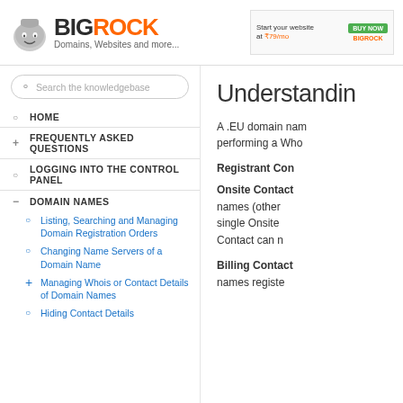[Figure (logo): BigRock logo with rock mascot, text BIG in dark and ROCK in orange, tagline: Domains, Websites and more...]
[Figure (screenshot): BigRock advertisement banner: Start your website at ₹79/mo with BUY NOW button]
Search the knowledgebase
HOME
FREQUENTLY ASKED QUESTIONS
LOGGING INTO THE CONTROL PANEL
DOMAIN NAMES
Listing, Searching and Managing Domain Registration Orders
Changing Name Servers of a Domain Name
Managing Whois or Contact Details of Domain Names
Hiding Contact Details
Understanding
A .EU domain name... performing a Who...
Registrant Con...
Onsite Contact... names (other... single Onsite... Contact can n...
Billing Contact... names registe...